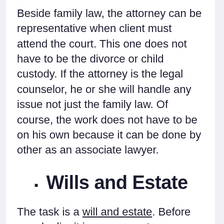Beside family law, the attorney can be representative when client must attend the court. This one does not have to be the divorce or child custody. If the attorney is the legal counselor, he or she will handle any issue not just the family law. Of course, the work does not have to be on his own because it can be done by other as an associate lawyer.
▪ Wills and Estate
The task is a will and estate. Before people die, it is necessary to prepare a will. The attorney is sole confidant with the right to formalize and legalize the will. If the content is not as it should be, the attorney will give advices to make sure